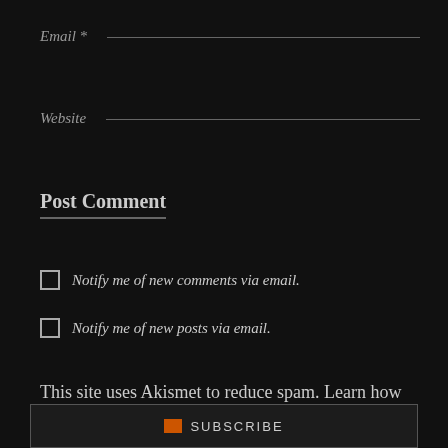Email *
Website
Post Comment
Notify me of new comments via email.
Notify me of new posts via email.
This site uses Akismet to reduce spam. Learn how your comment data is processed.
SUBSCRIBE